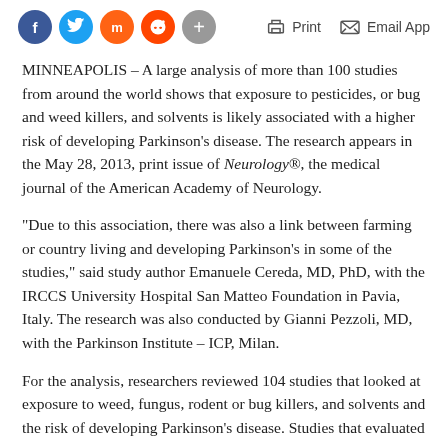Social share icons (Facebook, Twitter, Mix, Reddit, Plus) and actions: Print, Email App
MINNEAPOLIS – A large analysis of more than 100 studies from around the world shows that exposure to pesticides, or bug and weed killers, and solvents is likely associated with a higher risk of developing Parkinson's disease. The research appears in the May 28, 2013, print issue of Neurology®, the medical journal of the American Academy of Neurology.
"Due to this association, there was also a link between farming or country living and developing Parkinson's in some of the studies," said study author Emanuele Cereda, MD, PhD, with the IRCCS University Hospital San Matteo Foundation in Pavia, Italy. The research was also conducted by Gianni Pezzoli, MD, with the Parkinson Institute – ICP, Milan.
For the analysis, researchers reviewed 104 studies that looked at exposure to weed, fungus, rodent or bug killers, and solvents and the risk of developing Parkinson's disease. Studies that evaluated